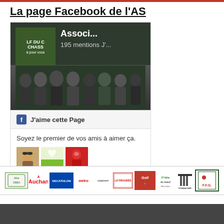La page Facebook de l'AS
[Figure (screenshot): Facebook page widget showing 'Associ...' page with 195 mentions J'... (likes), a group photo of people in dark clothing, a 'J'aime cette Page' button, text 'Soyez le premier de vos amis à aimer ça.' and three small avatar thumbnails]
[Figure (other): Sponsors bar with logos: Acted/Alce, Auchan, Decathlon, Metro, Capzam, Le Progrès, Golf (red), O'tête du bœuf, Fondacorp, FFG]